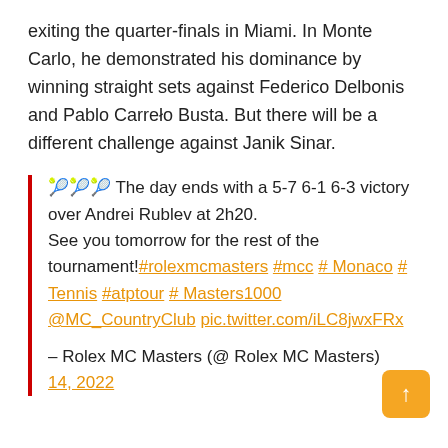exiting the quarter-finals in Miami. In Monte Carlo, he demonstrated his dominance by winning straight sets against Federico Delbonis and Pablo Carreño Busta. But there will be a different challenge against Janik Sinar.
🎾🎾🎾 The day ends with a 5-7 6-1 6-3 victory over Andrei Rublev at 2h20.
See you tomorrow for the rest of the tournament! #rolexmcmasters #mcc # Monaco # Tennis #atptour # Masters1000 @MC_CountryClub pic.twitter.com/iLC8jwxFRx

– Rolex MC Masters (@ Rolex MC Masters) 14, 2022